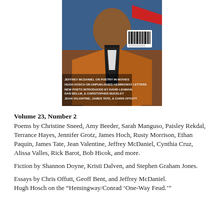[Figure (illustration): Book cover image showing a painted portrait of a man in an orange/brown coat with a blue background. Text on the cover reads: JEFFREY MCDANIEL ON POETRY IN MOVIES / HUGH HOSCH ON UNPUBLISHED HEMINGWAY LETTERS / NEW POETS INTRODUCED BY DAVID LEHMAN, DAN BELLM, & CHRISTOPHER BUCKLEY / JEAN VALENTINE, JAMES TATE, & CHRIS OFFUTT. A barcode is visible in the upper right corner.]
Volume 23, Number 2
Poems by Christine Sneed, Amy Beeder, Sarah Manguso, Paisley Rekdal, Terrance Hayes, Jennifer Grotz, James Hoch, Rusty Morrison, Ethan Paquin, James Tate, Jean Valentine, Jeffrey McDaniel, Cynthia Cruz, Alissa Valles, Rick Barot, Bob Hicok, and more.
Fiction by Shannon Doyne, Kristi Dalven, and Stephen Graham Jones.
Essays by Chris Offutt, Geoff Bent, and Jeffrey McDaniel.
Hugh Hosch on the “Hemingway/Conrad ‘One-Way Feud.’”